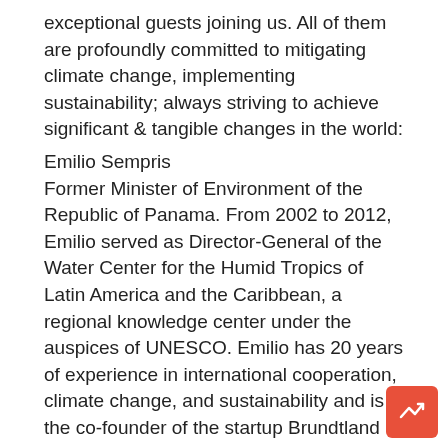exceptional guests joining us. All of them are profoundly committed to mitigating climate change, implementing sustainability; always striving to achieve significant & tangible changes in the world:
Emilio Sempris
Former Minister of Environment of the Republic of Panama. From 2002 to 2012, Emilio served as Director-General of the Water Center for the Humid Tropics of Latin America and the Caribbean, a regional knowledge center under the auspices of UNESCO. Emilio has 20 years of experience in international cooperation, climate change, and sustainability and is the co-founder of the startup Brundtland School of Prosperity and Governance.
Sean Colombon
Sean is the Co-Founder of ECO Wheat - Straw